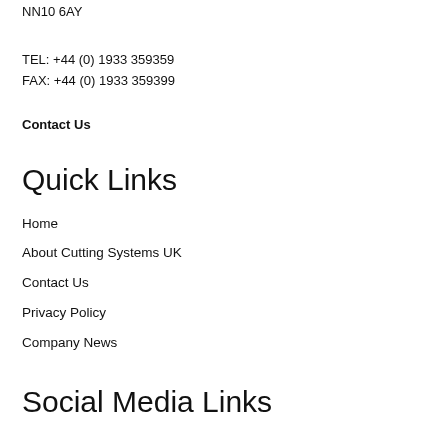NN10 6AY
TEL: +44 (0) 1933 359359
FAX: +44 (0) 1933 359399
Contact Us
Quick Links
Home
About Cutting Systems UK
Contact Us
Privacy Policy
Company News
Social Media Links